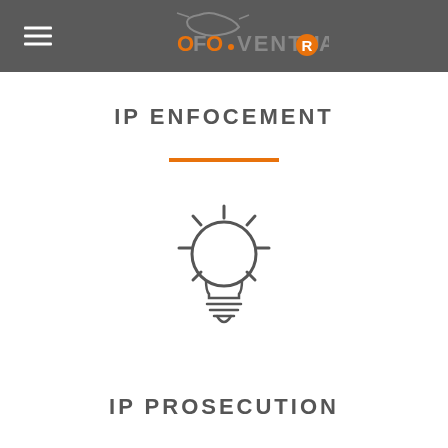OFO VENTURA
IP ENFOCEMENT
[Figure (illustration): Light bulb icon in outline style with rays, dark grey color]
IP PROSECUTION